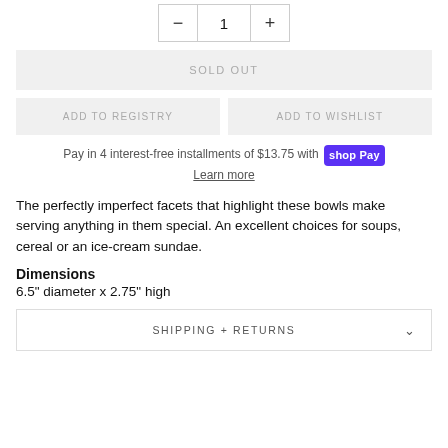− 1 +
SOLD OUT
ADD TO REGISTRY
ADD TO WISHLIST
Pay in 4 interest-free installments of $13.75 with Shop Pay
Learn more
The perfectly imperfect facets that highlight these bowls make serving anything in them special. An excellent choices for soups, cereal or an ice-cream sundae.
Dimensions
6.5" diameter x 2.75" high
SHIPPING + RETURNS